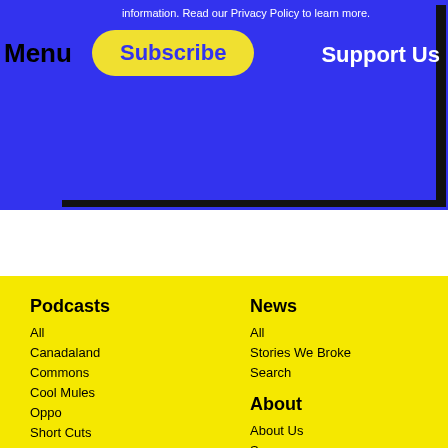information. Read our Privacy Policy to learn more.
Menu
Subscribe
Support Us
Podcasts
All
Canadaland
Commons
Cool Mules
Oppo
Short Cuts
Taste Buds
The Backbench
The Imposter
Thunder Bay
News
All
Stories We Broke
Search
About
About Us
Sponsors
Jobs
Advertising Policy
Disclosure